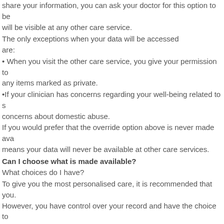share your information, you can ask your doctor for this option to be will be visible at any other care service.
The only exceptions when your data will be accessed are:
• When you visit the other care service, you give your permission to any items marked as private.
•If your clinician has concerns regarding your well-being related to s concerns about domestic abuse.
If you would prefer that the override option above is never made ava means your data will never be available at other care services.
Can I choose what is made available?
What choices do I have?
To give you the most personalised care, it is recommended that you. However, you have control over your record and have the choice to For example, if you have had a consultation about a particularly sen private. That way, even if you consent for another service to see you then consultations marked as private will be accessible.
What choices do I have?
When thinking about how your information is shared, you as the pat